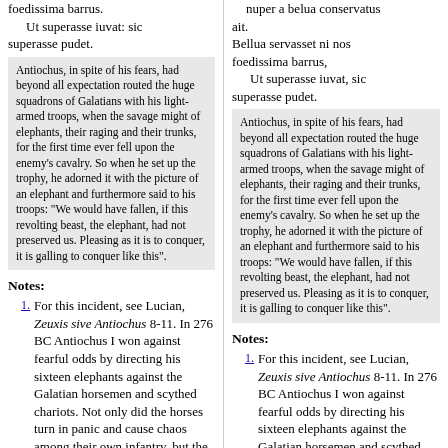foedissima barrus.
    Ut superasse iuvat: sic superasse pudet.
Antiochus, in spite of his fears, had beyond all expectation routed the huge squadrons of Galatians with his light-armed troops, when the savage might of elephants, their raging and their trunks, for the first time ever fell upon the enemy’s cavalry. So when he set up the trophy, he adorned it with the picture of an elephant and furthermore said to his troops: “We would have fallen, if this revolting beast, the elephant, had not preserved us. Pleasing as it is to conquer, it is galling to conquer like this”.
Notes:
1. For this incident, see Lucian, Zeuxis sive Antiochus 8-11. In 276 BC Antiochus I won against fearful odds by directing his sixteen elephants against the Galatian horsemen and scythed chariots. Not only did the horses turn in panic and cause chaos among their own infantry, but the elephants came on behind
nuper a belua conservatus ait.
Bellua servasset ni nos foedissima barrus,
    Ut superasse iuvat, sic superasse pudet.
Antiochus, in spite of his fears, had beyond all expectation routed the huge squadrons of Galatians with his light-armed troops, when the savage might of elephants, their raging and their trunks, for the first time ever fell upon the enemy’s cavalry. So when he set up the trophy, he adorned it with the picture of an elephant and furthermore said to his troops: “We would have fallen, if this revolting beast, the elephant, had not preserved us. Pleasing as it is to conquer, it is galling to conquer like this”.
Notes:
1. For this incident, see Lucian, Zeuxis sive Antiochus 8-11. In 276 BC Antiochus I won against fearful odds by directing his sixteen elephants against the Galatian horsemen and scythed chariots. Not only did the horses turn in panic